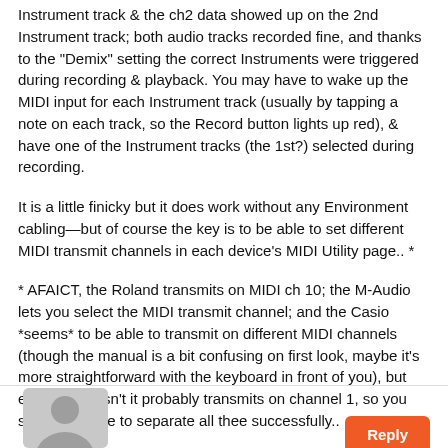Instrument track & the ch2 data showed up on the 2nd Instrument track; both audio tracks recorded fine, and thanks to the "Demix" setting the correct Instruments were triggered during recording & playback. You may have to wake up the MIDI input for each Instrument track (usually by tapping a note on each track, so the Record button lights up red), & have one of the Instrument tracks (the 1st?) selected during recording.
It is a little finicky but it does work without any Environment cablingâ€"but of course the key is to be able to set different MIDI transmit channels in each device's MIDI Utility page.. *
* AFAICT, the Roland transmits on MIDI ch 10; the M-Audio lets you select the MIDI transmit channel; and the Casio *seems* to be able to transmit on different MIDI channels (though the manual is a bit confusing on first look, maybe it's more straightforward with the keyboard in front of you), but even if it doesn't it probably transmits on channel 1, so you should be able to separate all thee successfully..
[Figure (illustration): Grey avatar/profile picture placeholder icon at bottom left]